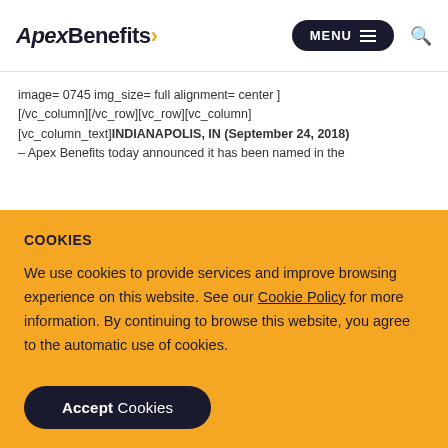ApexBenefits MENU
image= 0745 img_size= full alignment= center ] [/vc_column][/vc_row][vc_row][vc_column] [vc_column_text]INDIANAPOLIS, IN (September 24, 2018) – Apex Benefits today announced it has been named in the
COOKIES
We use cookies to provide services and improve browsing experience on this website. See our Cookie Policy for more information. By continuing to browse this website, you agree to the automatic use of cookies.
Accept Cookies